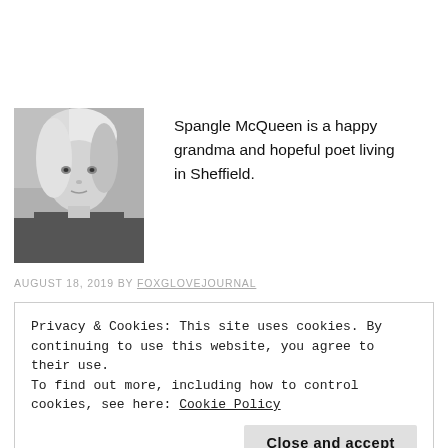[Figure (photo): Black and white portrait photo of a woman with short blonde hair looking at the camera]
Spangle McQueen is a happy grandma and hopeful poet living in Sheffield.
AUGUST 18, 2019 BY FOXGLOVEJOURNAL
Privacy & Cookies: This site uses cookies. By continuing to use this website, you agree to their use.
To find out more, including how to control cookies, see here: Cookie Policy